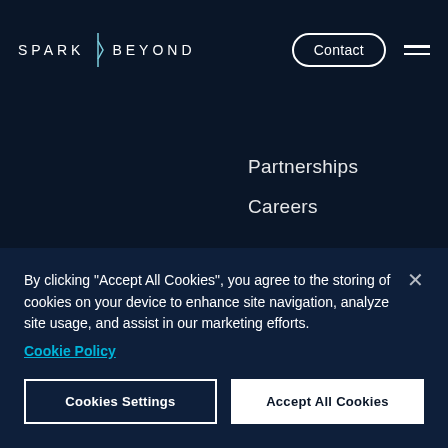SPARK * BEYOND
Partnerships
Careers
[Figure (logo): SparkBeyond footer logo, muted/faded white text]
Terms of Use
By clicking “Accept All Cookies”, you agree to the storing of cookies on your device to enhance site navigation, analyze site usage, and assist in our marketing efforts. Cookie Policy
Cookies Settings
Accept All Cookies